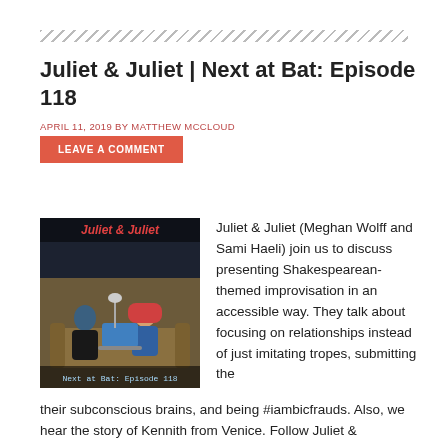Juliet & Juliet | Next at Bat: Episode 118
APRIL 11, 2019 BY MATTHEW MCCLOUD
LEAVE A COMMENT
[Figure (photo): Podcast cover image for Juliet & Juliet, Next at Bat Episode 118. Two people sitting on a couch in a recording studio setting.]
Juliet & Juliet (Meghan Wolff and Sami Haeli) join us to discuss presenting Shakespearean-themed improvisation in an accessible way. They talk about focusing on relationships instead of just imitating tropes, submitting the their subconscious brains, and being #iambicfrauds. Also, we hear the story of Kennith from Venice. Follow Juliet & Juliet at...